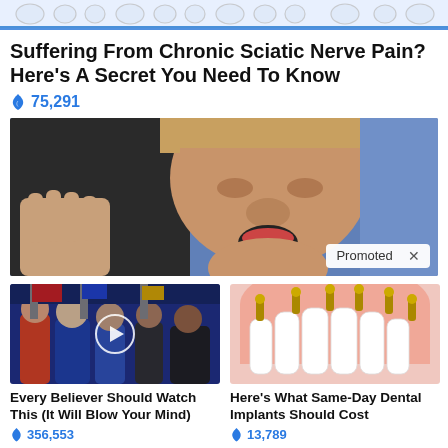[Figure (illustration): Top banner with tooth/dental icons on blue gradient background]
Suffering From Chronic Sciatic Nerve Pain? Here's A Secret You Need To Know
🔥 75,291
[Figure (photo): Close-up photo of a man gesturing with a hand raised, blue background, with a 'Promoted X' badge in lower right]
[Figure (photo): Thumbnail of group of people at a podium, with a circular play button overlay]
[Figure (illustration): Dental implant illustration showing upper jaw with implant screws and white teeth on pink gum background]
Every Believer Should Watch This (It Will Blow Your Mind)
🔥 356,553
Here's What Same-Day Dental Implants Should Cost
🔥 13,789